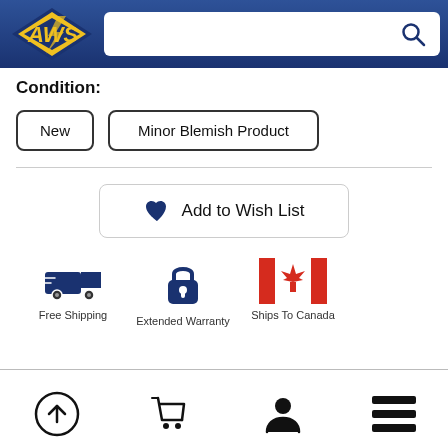[Figure (logo): AWS logo with yellow lightning bolt letters on blue background]
Condition:
New
Minor Blemish Product
Add to Wish List
[Figure (infographic): Three icons: Free Shipping (truck), Extended Warranty (padlock), Ships To Canada (Canadian flag)]
Free Shipping
Extended Warranty
Ships To Canada
[Figure (infographic): Bottom navigation bar with four icons: upload/back-to-top arrow in circle, shopping cart, user/person, hamburger menu]